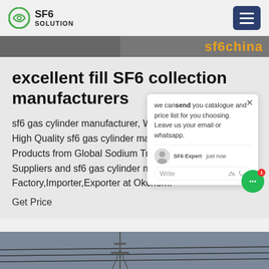SF6 SOLUTION
[Figure (screenshot): Top image strip with orange 'sf6china' text on dark background]
excellent fill SF6 collection manufacturers
sf6 gas cylinder manufacturer, Who... High Quality sf6 gas cylinder manuf... Products from Global Sodium Tripol... Suppliers and sf6 gas cylinder manu... Factory,Importer,Exporter at Okchem.
Get Price
[Figure (screenshot): Chat popup overlay: 'we can send you catalogue and price list for you choosing. Leave us your email or whatsapp.' with SF6 Expert avatar, Write area, and close button]
[Figure (photo): Bottom photo showing power lines and infrastructure]